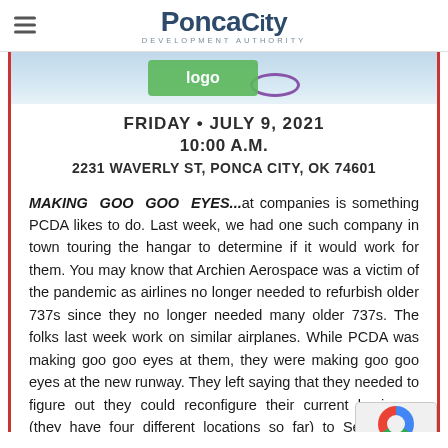Ponca City Development Authority
[Figure (logo): Partial event flyer image showing green logo and purple oval graphic, sky background]
FRIDAY • JULY 9, 2021
10:00 A.M.
2231 WAVERLY ST, PONCA CITY, OK 74601
MAKING GOO GOO EYES...at companies is something PCDA likes to do. Last week, we had one such company in town touring the hangar to determine if it would work for them. You may know that Archien Aerospace was a victim of the pandemic as airlines no longer needed to refurbish older 737s since they no longer needed many older 737s. The folks last week work on similar airplanes. While PCDA was making goo goo eyes at them, they were making goo goo eyes at the new runway. They left saying that they needed to figure out they could reconfigure their current business (they have four different locations so far) to Selecting a location is not just about the right